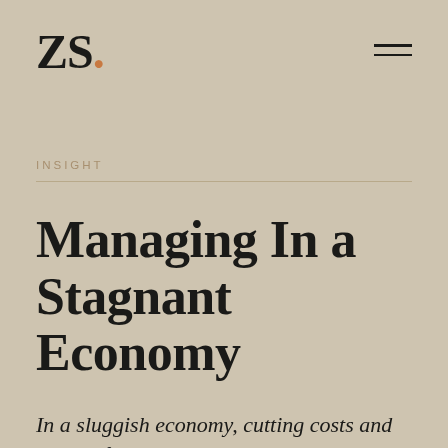ZS.
INSIGHT
Managing In a Stagnant Economy
In a sluggish economy, cutting costs and hoping for an economic upturn isn't enough; a business must remain dynamic